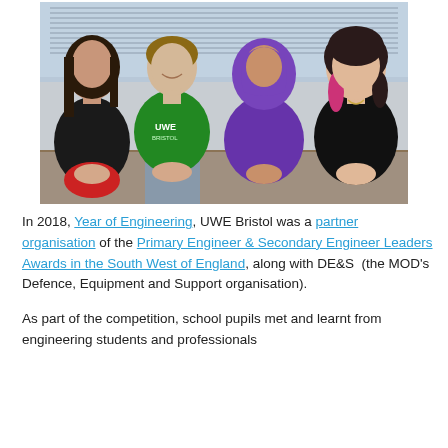[Figure (photo): Four young women sitting together on a couch/bench. From left to right: a girl with long dark hair wearing a black jacket, a girl wearing a green UWE Bristol hoodie and grey jeans, a girl wearing a purple hijab and purple top, and a girl with pink-tipped hair wearing a black top. They appear to be in an office or school setting with blinds visible in the background.]
In 2018, Year of Engineering, UWE Bristol was a partner organisation of the Primary Engineer & Secondary Engineer Leaders Awards in the South West of England, along with DE&S (the MOD's Defence, Equipment and Support organisation).
As part of the competition, school pupils met and learnt from engineering students and professionals